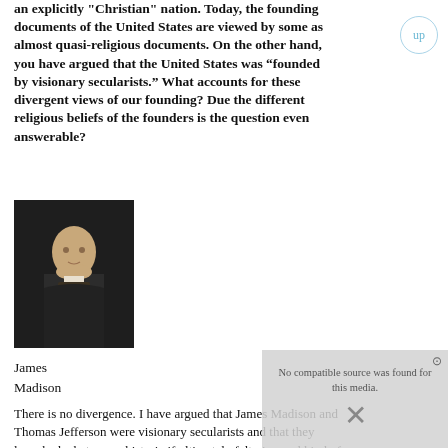an explicitly "Christian" nation. Today, the founding documents of the United States are viewed by some as almost quasi-religious documents. On the other hand, you have argued that the United States was “founded by visionary secularists.” What accounts for these divergent views of our founding? Due the different religious beliefs of the founders is the question even answerable?
[Figure (photo): Dark portrait painting of James Madison in formal attire against a dark background]
James Madison
There is no divergence. I have argued that James Madison and Thomas Jefferson were visionary secularists and that they launched what was a historic if ultimately faltering and kind of feeble secularization project. That is true. Other notable Americans of the revolutionary era were acutely